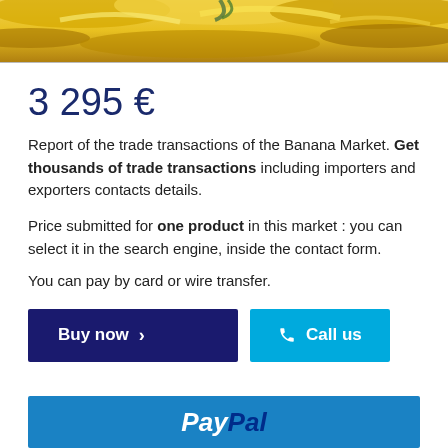[Figure (photo): Close-up photo of yellow bananas at the top of the page]
3 295 €
Report of the trade transactions of the Banana Market. Get thousands of trade transactions including importers and exporters contacts details.
Price submitted for one product in this market : you can select it in the search engine, inside the contact form.
You can pay by card or wire transfer.
Buy now
Call us
PayPal